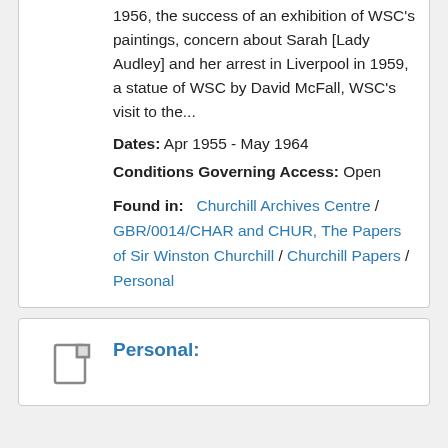1956, the success of an exhibition of WSC's paintings, concern about Sarah [Lady Audley] and her arrest in Liverpool in 1959, a statue of WSC by David McFall, WSC's visit to the...
Dates: Apr 1955 - May 1964
Conditions Governing Access: Open
Found in: Churchill Archives Centre / GBR/0014/CHAR and CHUR, The Papers of Sir Winston Churchill / Churchill Papers / Personal
Personal: